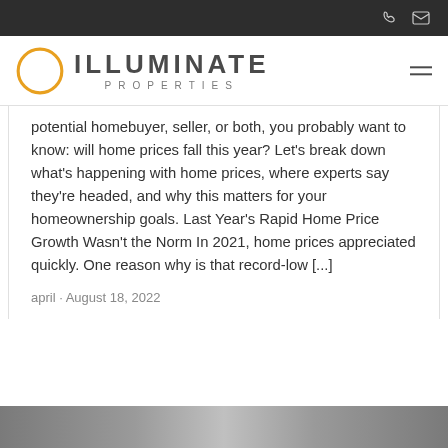Illuminate Properties - website header with phone and email icons
[Figure (logo): Illuminate Properties logo: orange circle outline on the left, ILLUMINATE in large dark letters, PROPERTIES in smaller spaced letters below]
potential homebuyer, seller, or both, you probably want to know: will home prices fall this year? Let’s break down what’s happening with home prices, where experts say they’re headed, and why this matters for your homeownership goals. Last Year’s Rapid Home Price Growth Wasn’t the Norm In 2021, home prices appreciated quickly. One reason why is that record-low [...]
april · August 18, 2022
[Figure (photo): Partial photo visible at the bottom of the page, appears to be a real estate or home-related image]